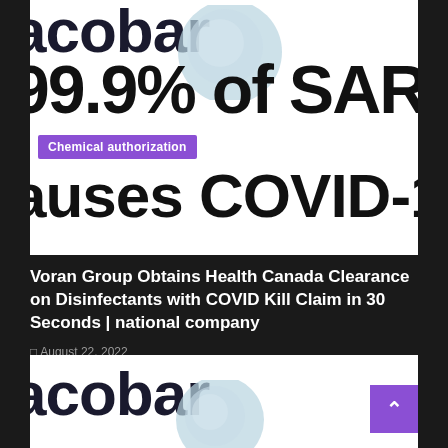[Figure (screenshot): Partial screenshot of a product label/advertisement showing large bold text 'acobar', a blue globe graphic, '99.9% of SARS-Co' in large bold text, a purple 'Chemical authorization' badge, and partial text 'auses COVID-19' below]
Voran Group Obtains Health Canada Clearance on Disinfectants with COVID Kill Claim in 30 Seconds | national company
August 22, 2022
[Figure (screenshot): Partial screenshot of the same product label/advertisement showing large bold dark text 'acobar' with a blue globe graphic partially visible]